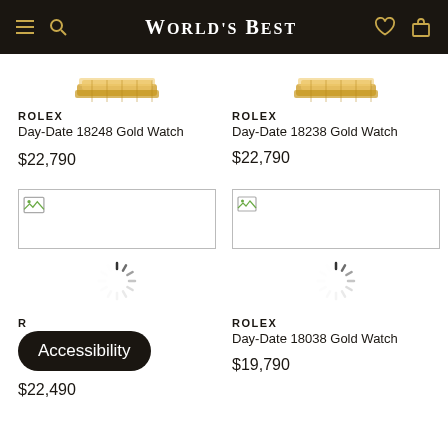World's Best
ROLEX
Day-Date 18248 Gold Watch
$22,790
ROLEX
Day-Date 18238 Gold Watch
$22,790
[Figure (photo): Loading image placeholder with broken image icon, left column]
[Figure (photo): Loading image placeholder with broken image icon, right column]
[Figure (other): Loading spinner animation, left column]
[Figure (other): Loading spinner animation, right column]
Accessibility
ROLEX
Day-Date 18238 Gold Watch
$22,490
ROLEX
Day-Date 18038 Gold Watch
$19,790